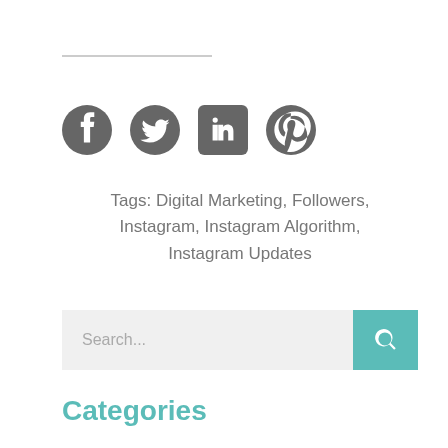[Figure (infographic): Social media share icons: Facebook, Twitter, LinkedIn, Pinterest in dark grey]
Tags: Digital Marketing, Followers, Instagram, Instagram Algorithm, Instagram Updates
Search...
Categories